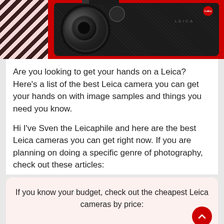[Figure (photo): Leica camera on red background with black and white zebra pattern on left side. Camera is black with red Leica logo badge on top right, LEICA text on body, and large circular lens on front.]
Are you looking to get your hands on a Leica? Here's a list of the best Leica camera you can get your hands on with image samples and things you need you know.
Hi I've Sven the Leicaphile and here are the best Leica cameras you can get right now. If you are planning on doing a specific genre of photography, check out these articles:
If you know your budget, check out the cheapest Leica cameras by price:
for beginners | for Street Photography | For travels